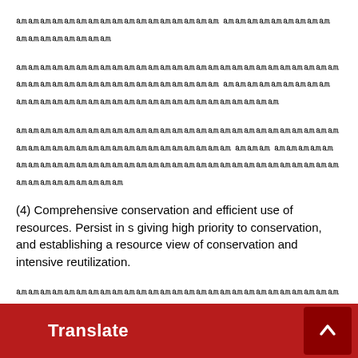㎜㎜㎜㎜㎜㎜㎜㎜㎜㎜㎜㎜㎜㎜㎜㎜㎜ ㎜㎜㎜㎜㎜㎜㎜㎜㎜㎜㎜㎜㎜㎜㎜㎜㎜
㎜㎜㎜㎜㎜㎜㎜㎜㎜㎜㎜㎜㎜㎜㎜㎜㎜㎜㎜㎜㎜㎜㎜㎜㎜㎜㎜㎜㎜㎜㎜㎜㎜㎜㎜㎜㎜㎜㎜㎜㎜㎜㎜㎜ ㎜㎜㎜㎜㎜㎜㎜㎜㎜㎜㎜㎜㎜㎜㎜㎜㎜㎜㎜㎜㎜㎜㎜㎜㎜㎜㎜㎜㎜㎜㎜
㎜㎜㎜㎜㎜㎜㎜㎜㎜㎜㎜㎜㎜㎜㎜㎜㎜㎜㎜㎜㎜㎜㎜㎜㎜㎜㎜㎜㎜㎜㎜㎜㎜㎜㎜㎜㎜㎜㎜㎜㎜㎜㎜㎜㎜ ㎜㎜㎜ ㎜㎜㎜㎜㎜㎜㎜㎜㎜㎜㎜㎜㎜㎜㎜㎜㎜㎜㎜㎜㎜㎜㎜㎜㎜㎜㎜㎜㎜㎜㎜㎜㎜㎜㎜㎜㎜㎜㎜㎜㎜
(4) Comprehensive conservation and efficient use of resources. Persist in s giving high priority to conservation, and establishing a resource view of conservation and intensive reutilization.
㎜㎜㎜㎜㎜㎜㎜㎜㎜㎜㎜㎜㎜㎜㎜㎜㎜㎜㎜㎜㎜㎜㎜㎜㎜㎜㎜㎜㎜㎜㎜㎜㎜㎜㎜ ㎜㎜㎜㎜㎜㎜㎜㎜ ㎜㎜㎜㎜㎜㎜㎜㎜㎜㎜㎜㎜㎜㎜㎜㎜㎜㎜㎜㎜㎜㎜㎜㎜㎜㎜㎜㎜㎜㎜㎜㎜㎜㎜㎜
㎜㎜㎜㎜㎜㎜㎜㎜㎜㎜㎜㎜㎜㎜㎜㎜㎜㎜㎜㎜㎜㎜㎜㎜㎜㎜㎜㎜㎜㎜㎜㎜㎜㎜㎜㎜㎜ ㎜㎜㎜㎜㎜㎜㎜㎜㎜㎜㎜ ㎜㎜㎜㎜㎜㎜㎜㎜㎜㎜㎜㎜㎜㎜㎜㎜㎜㎜㎜㎜㎜㎜㎜㎜㎜㎜㎜㎜㎜㎜㎜㎜㎜㎜㎜㎜㎜㎜㎜㎜㎜㎜㎜㎜㎜㎜㎜㎜㎜㎜㎜㎜㎜㎜㎜㎜㎜㎜㎜㎜㎜㎜㎜㎜㎜ ㎜㎜㎜㎜㎜㎜㎜㎜ Explore implementing pilot tstoms for arrable and fallow farmland